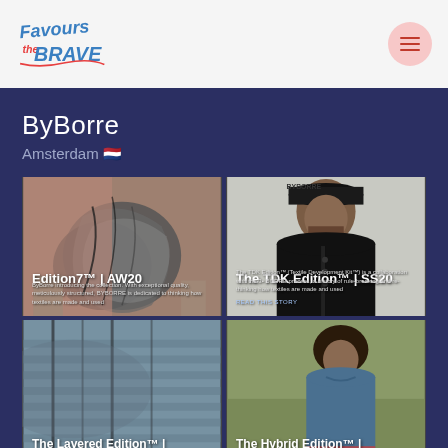[Figure (logo): Favours the Brave logo in blue and pink/red hand-lettered style]
[Figure (other): Hamburger menu button (three horizontal lines) on a light pink circular background]
ByBorre
Amsterdam 🇳🇱
[Figure (photo): Edition7™ | AW20 — close-up of layered knitwear garments in grey and pink tones, with overlay text and small description]
[Figure (photo): The TDK Edition™ | SS20 — man wearing black outfit and bucket hat against light background, with overlay text and description and READ THIS STORY link]
[Figure (photo): The Layered Edition™ | — close-up of layered knit fabric in grey/blue tones]
[Figure (photo): The Hybrid Edition™ | — person wearing blue/teal top against olive/green background]